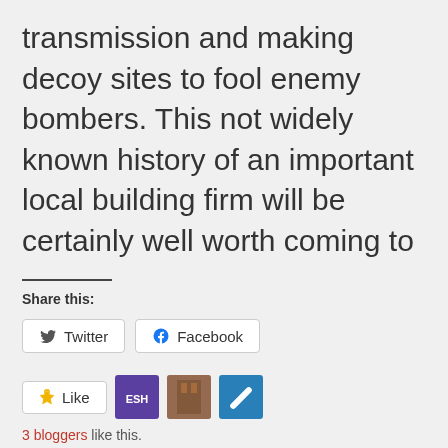transmission and making decoy sites to fool enemy bombers. This not widely known history of an important local building firm will be certainly well worth coming to
Share this:
[Figure (other): Twitter share button]
[Figure (other): Facebook share button]
[Figure (other): Like button with 3 blogger avatars]
3 bloggers like this.